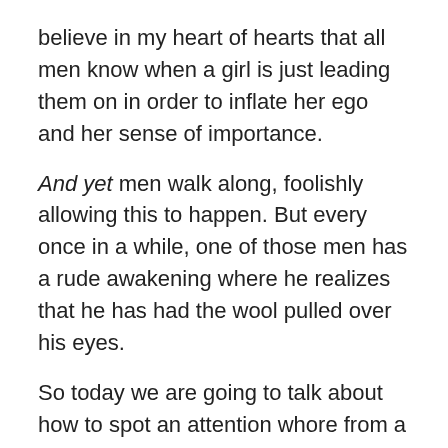believe in my heart of hearts that all men know when a girl is just leading them on in order to inflate her ego and her sense of importance.
And yet men walk along, foolishly allowing this to happen. But every once in a while, one of those men has a rude awakening where he realizes that he has had the wool pulled over his eyes.
So today we are going to talk about how to spot an attention whore from a mile away.
These telltale signs are there in every single case. The trick lies in not only recognizing them, but in having the mental and spiritual fortitude to act upon your realization and avoid